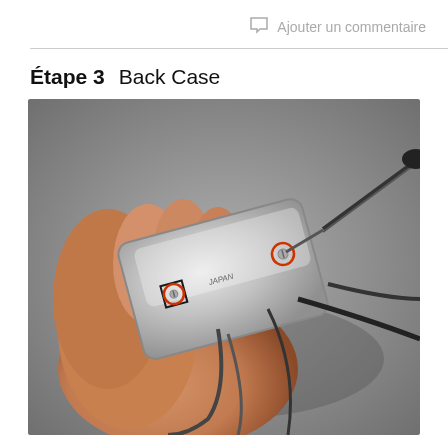Ajouter un commentaire
Étape 3    Back Case
[Figure (photo): A hand holding a silver portable electronic device (likely a digital camera or media player) showing screws on its back/bottom edge, circled in red to indicate locations. A screwdriver is being inserted into one of the screws. Cables are visible hanging from the device.]